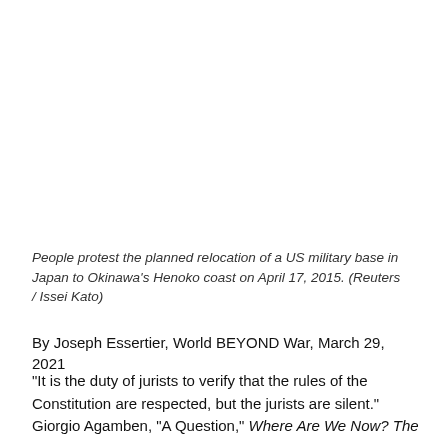People protest the planned relocation of a US military base in Japan to Okinawa's Henoko coast on April 17, 2015. (Reuters / Issei Kato)
By Joseph Essertier, World BEYOND War, March 29, 2021
"It is the duty of jurists to verify that the rules of the Constitution are respected, but the jurists are silent." Giorgio Agamben, "A Question," Where Are We Now? The